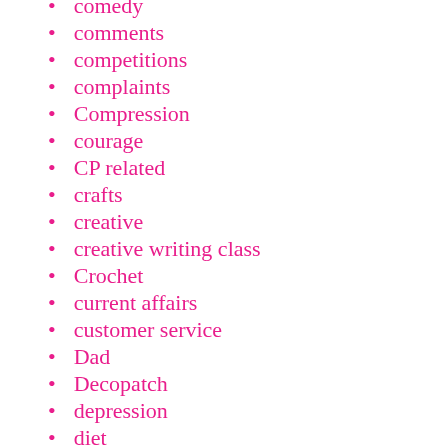comedy
comments
competitions
complaints
Compression
courage
CP related
crafts
creative
creative writing class
Crochet
current affairs
customer service
Dad
Decopatch
depression
diet